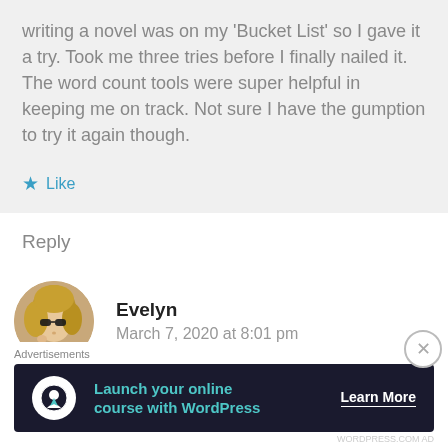writing a novel was on my 'Bucket List' so I gave it a try. Took me three tries before I finally nailed it. The word count tools were super helpful in keeping me on track. Not sure I have the gumption to try it again though.
★ Like
Reply
Evelyn
March 7, 2020 at 8:01 pm
[Figure (photo): Circular avatar of a woman with blonde hair and sunglasses]
Advertisements
[Figure (infographic): Dark advertisement banner: Launch your online course with WordPress — Learn More]